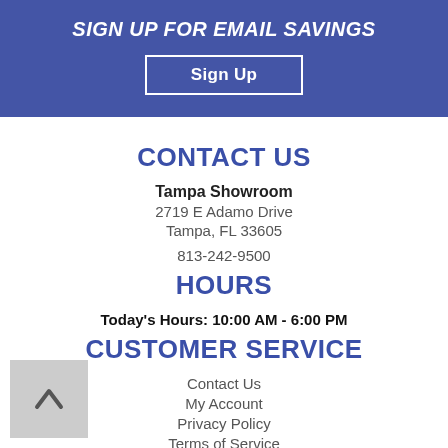SIGN UP FOR EMAIL SAVINGS
Sign Up
CONTACT US
Tampa Showroom
2719 E Adamo Drive
Tampa, FL 33605
813-242-9500
HOURS
Today's Hours: 10:00 AM - 6:00 PM
CUSTOMER SERVICE
Contact Us
My Account
Privacy Policy
Terms of Service